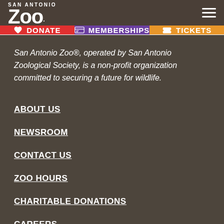SAN ANTONIO ZOO
[Figure (screenshot): Navigation bar with three buttons: DONATE (red, with heart icon), MEMBERSHIPS (purple, with ID card icon), TICKETS (orange, with ticket icon)]
San Antonio Zoo®, operated by San Antonio Zoological Society, is a non-profit organization committed to securing a future for wildlife.
ABOUT US
NEWSROOM
CONTACT US
ZOO HOURS
CHARITABLE DONATIONS
CAREERS
PRIVACY POLICY